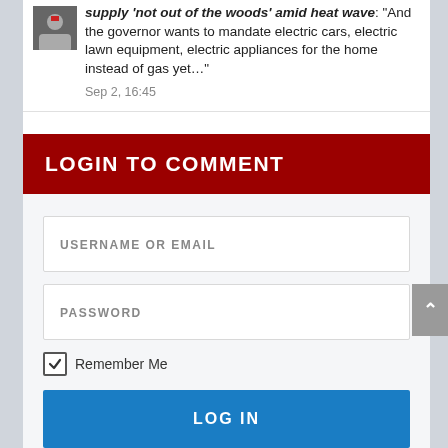supply 'not out of the woods' amid heat wave: "And the governor wants to mandate electric cars, electric lawn equipment, electric appliances for the home instead of gas yet…" Sep 2, 16:45
LOGIN TO COMMENT
USERNAME OR EMAIL
PASSWORD
Remember Me
LOG IN